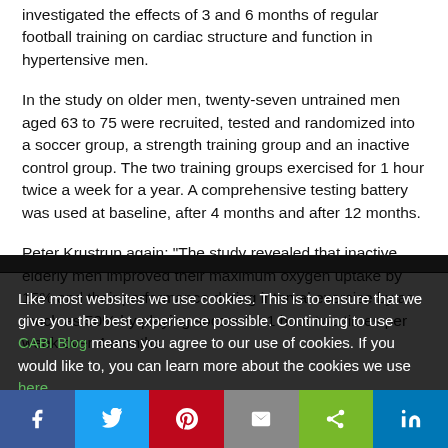investigated the effects of 3 and 6 months of regular football training on cardiac structure and function in hypertensive men.
In the study on older men, twenty-seven untrained men aged 63 to 75 were recruited, tested and randomized into a soccer group, a strength training group and an inactive control group. The two training groups exercised for 1 hour twice a week for a year. A comprehensive testing battery was used at baseline, after 4 months and after 12 months.
Peter Krustrup again: "The study revealed that inactive elderly men improved their maximum oxygen uptake by 15% and their performance during interval exercise by as much as 50% by playing soccer for 1 hour two times per week over 4 months
Like most websites we use cookies. This is to ensure that we give you the best experience possible. Continuing to use CABI Blog means you agree to our use of cookies. If you would like to, you can learn more about the cookies we use here.